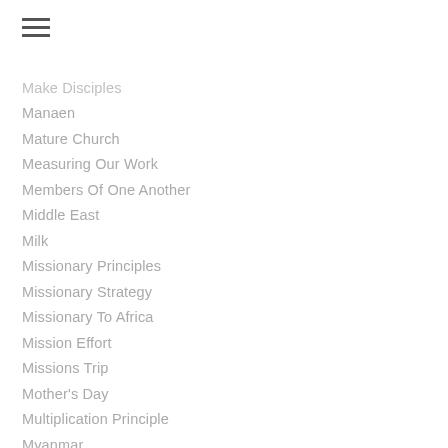Make Disciples
Manaen
Mature Church
Measuring Our Work
Members Of One Another
Middle East
Milk
Missionary Principles
Missionary Strategy
Missionary To Africa
Mission Effort
Missions Trip
Mother's Day
Multiplication Principle
Myanmar
Nations
Nepal
Never Heard The Message
New Beginning